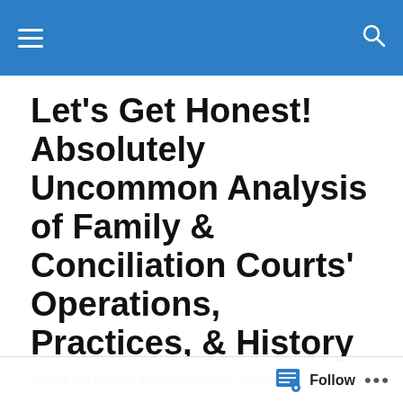Let's Get Honest! Absolutely Uncommon Analysis of Family & Conciliation Courts' Operations, Practices, & History
Identify the Entities, Find the Funding, Talk Sense!
White Guy Helps African American Marriages until He Jumps ship on His…
Follow ...